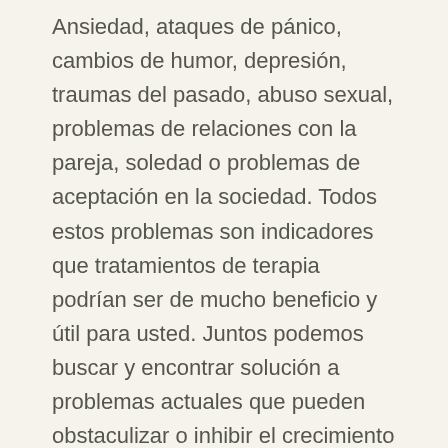Ansiedad, ataques de pánico, cambios de humor, depresión, traumas del pasado, abuso sexual, problemas de relaciones con la pareja, soledad o problemas de aceptación en la sociedad. Todos estos problemas son indicadores que tratamientos de terapia podrían ser de mucho beneficio y útil para usted. Juntos podemos buscar y encontrar solución a problemas actuales que pueden obstaculizar o inhibir el crecimiento personal, nivel de funcionamiento, o el bienestar general. Entonces deberán establecerse metas y hacer un plan para lograrlas. Soy graduado en Psicología y tengo dos posgrados y mi orientación a la terapia es ecléctica, lo que significa que extraje de muchas